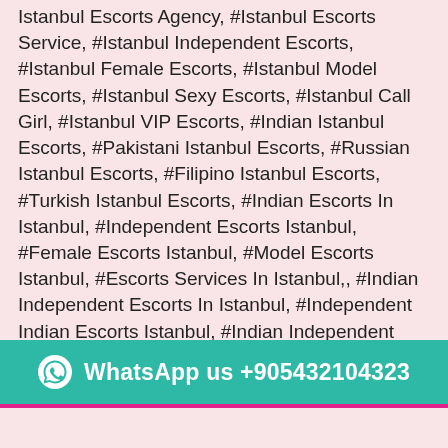Istanbul Escorts Agency, #Istanbul Escorts Service, #Istanbul Independent Escorts, #Istanbul Female Escorts, #Istanbul Model Escorts, #Istanbul Sexy Escorts, #Istanbul Call Girl, #Istanbul VIP Escorts, #Indian Istanbul Escorts, #Pakistani Istanbul Escorts, #Russian Istanbul Escorts, #Filipino Istanbul Escorts, #Turkish Istanbul Escorts, #Indian Escorts In Istanbul, #Independent Escorts Istanbul, #Female Escorts Istanbul, #Model Escorts Istanbul, #Escorts Services In Istanbul,, #Indian Independent Escorts In Istanbul, #Independent Indian Escorts Istanbul, #Indian Independent Female Escorts Istanbul, #Istanbul Escorts Call Girl, #Turkish Escorts In Istanbul, #Housewife Escorts In Istanbul, #Call Girl Escorts In Istanbul, #best Escorts In Istanbul, #Escorts Indian Girl In Istanbul. Independent Female Escorts In Istanbul, #Filipino Escorts In Istanbul, #Istanbul College Escorts, #High Profile Escorts In Istanbul, #Indian Air-Hostess
WhatsApp us +905432104323